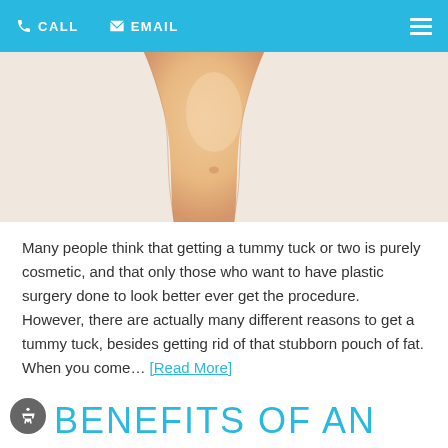CALL  EMAIL
[Figure (photo): Close-up photo of a person's midsection/torso showing skin tone, suggesting a tummy tuck procedure context.]
Many people think that getting a tummy tuck or two is purely cosmetic, and that only those who want to have plastic surgery done to look better ever get the procedure. However, there are actually many different reasons to get a tummy tuck, besides getting rid of that stubborn pouch of fat. When you come… [Read More]
BENEFITS OF AN